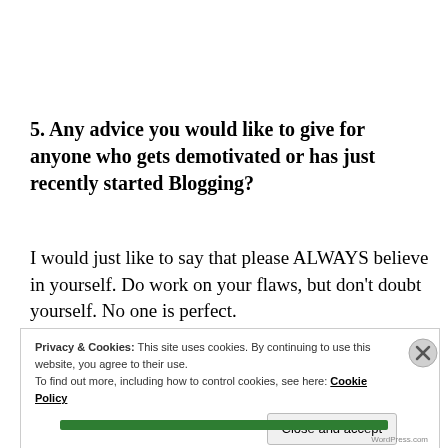5. Any advice you would like to give for anyone who gets demotivated or has just recently started Blogging?
I would just like to say that please ALWAYS believe in yourself. Do work on your flaws, but don't doubt yourself. No one is perfect.
Privacy & Cookies: This site uses cookies. By continuing to use this website, you agree to their use. To find out more, including how to control cookies, see here: Cookie Policy
Close and accept